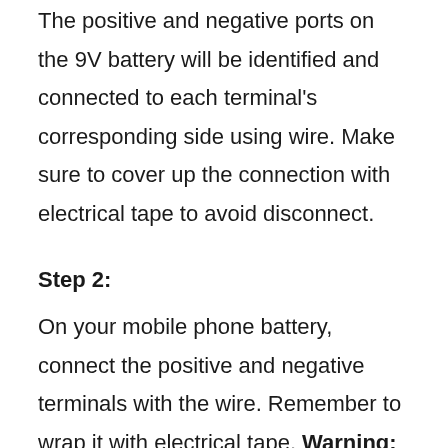The positive and negative ports on the 9V battery will be identified and connected to each terminal's corresponding side using wire. Make sure to cover up the connection with electrical tape to avoid disconnect.
Step 2:
On your mobile phone battery, connect the positive and negative terminals with the wire. Remember to wrap it with electrical tape. Warning: Don't interchange the connection of a positive side to a negative side.
Step 3: